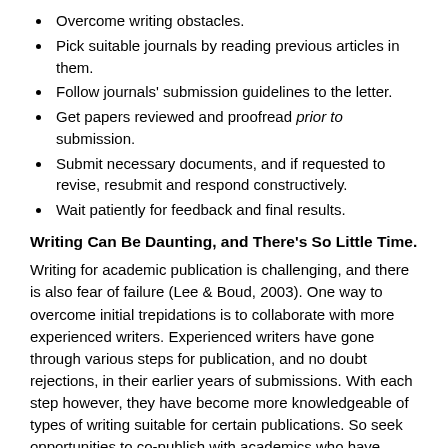Overcome writing obstacles.
Pick suitable journals by reading previous articles in them.
Follow journals' submission guidelines to the letter.
Get papers reviewed and proofread prior to submission.
Submit necessary documents, and if requested to revise, resubmit and respond constructively.
Wait patiently for feedback and final results.
Writing Can Be Daunting, and There's So Little Time.
Writing for academic publication is challenging, and there is also fear of failure (Lee & Boud, 2003). One way to overcome initial trepidations is to collaborate with more experienced writers. Experienced writers have gone through various steps for publication, and no doubt rejections, in their earlier years of submissions. With each step however, they have become more knowledgeable of types of writing suitable for certain publications. So seek opportunities to co-publish with academics who have similar research interests.
There is also good news from informal discussions with journal editors, who occasionally express willingness to work closely with authors to bring papers to a publishable level even if manuscripts require major revisions. For a collection of informative resources